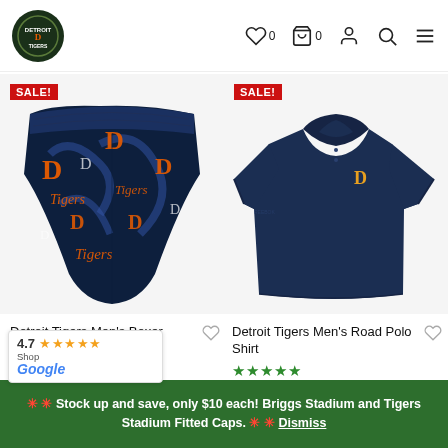Detroit Tigers store navigation bar with logo, wishlist (0), cart (0), account, search, and menu icons
[Figure (photo): Detroit Tigers Men's Boxer shorts with SALE badge — navy blue with orange and white Tigers D logos pattern]
[Figure (photo): Detroit Tigers Men's Road Polo Shirt with SALE badge — solid navy blue polo with small D logo on chest]
Detroit Tigers Men's Boxer
Detroit Tigers Men's Road Polo Shirt
★★★★★ $39.99 $25.00
4.7 ★★★★★ Shop Google
🔴🔴 Stock up and save, only $10 each! Briggs Stadium and Tigers Stadium Fitted Caps. 🔴🔴 Dismiss